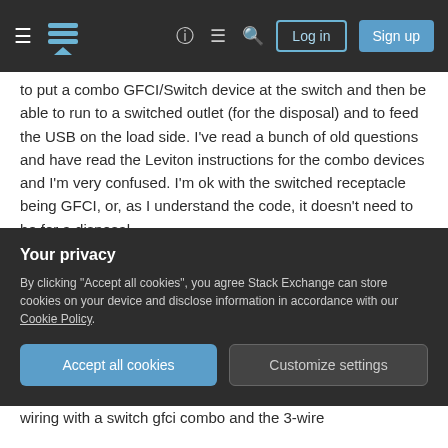Stack Exchange navigation bar with hamburger menu, logo, help, chat, search icons, Log in and Sign up buttons
to put a combo GFCI/Switch device at the switch and then be able to run to a switched outlet (for the disposal) and to feed the USB on the load side. I've read a bunch of old questions and have read the Leviton instructions for the combo devices and I'm very confused. I'm ok with the switched receptacle being GFCI, or, as I understand the code, it doesn't need to be for a disposal.

I need help with the wiring both at the switch box and at the box under the sink. To recap, existing wiring is: 12-2 going into the switch box, 12-3
Your privacy
By clicking "Accept all cookies", you agree Stack Exchange can store cookies on your device and disclose information in accordance with our Cookie Policy.
Accept all cookies   Customize settings
wiring with a switch gfci combo and the 3-wire